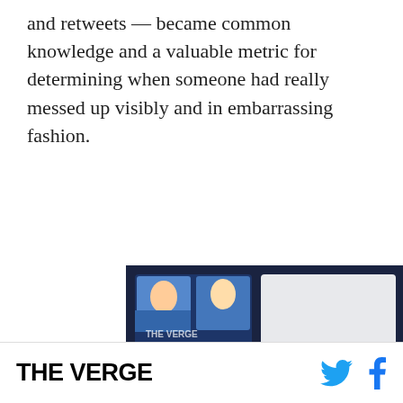and retweets — became common knowledge and a valuable metric for determining when someone had really messed up visibly and in embarrassing fashion.
[Figure (screenshot): Video player showing a promotional screen for 'Top Articles' from The Verge with a play button overlay, pink/magenta arrow button on the right, and a caption bar reading 'Transcription service Otter is making free users pay t...']
THE VERGE [with Twitter and Facebook social icons]